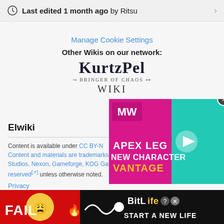Last edited 1 month ago by Ritsu
Manage Cookie Settings
Other Wikis on our network:
[Figure (logo): KurtzPel: Bringer of Chaos Wiki logo]
Elwiki
Content is available under CC BY-NC-SA unless otherwise noted. Content and materials are trademarks and copyrights of KOG Studios, Nexon, Gameforge, KOG Games or its licensors. All rights reserved unless otherwise noted.
Privacy
[Figure (screenshot): Apex Legends New Character Vantage video advertisement overlay]
[Figure (screenshot): BitLife Start A New Life banner advertisement]